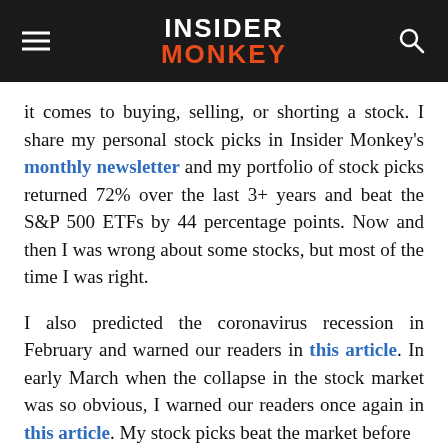INSIDER MONKEY
it comes to buying, selling, or shorting a stock. I share my personal stock picks in Insider Monkey's monthly newsletter and my portfolio of stock picks returned 72% over the last 3+ years and beat the S&P 500 ETFs by 44 percentage points. Now and then I was wrong about some stocks, but most of the time I was right.
I also predicted the coronavirus recession in February and warned our readers in this article. In early March when the collapse in the stock market was so obvious, I warned our readers once again in this article. My stock picks beat the market before